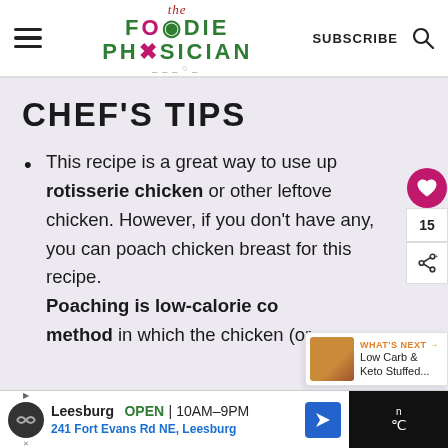The Foodie Physician — SUBSCRIBE
CHEF'S TIPS
This recipe is a great way to use up rotisserie chicken or other leftover chicken. However, if you don't have any, you can poach chicken breast for this recipe. Poaching is low-calorie cooking method in which the chicken (or…
[Figure (screenshot): What's Next overlay showing Low Carb & Keto Stuffed... with food image thumbnail]
[Figure (infographic): Social share bar with heart icon showing 15 likes and share button]
Ad: Leesburg OPEN 10AM–9PM | 241 Fort Evans Rd NE, Leesburg